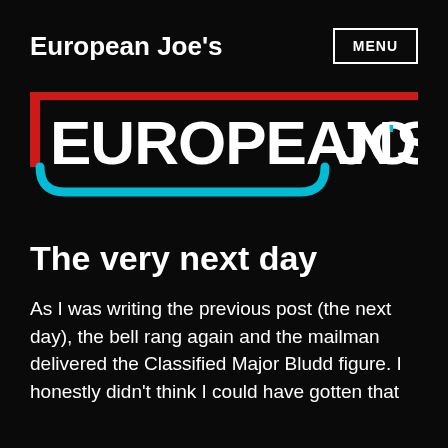European Joe's | MENU
[Figure (logo): European Joe's logo with bold white text on black background, red rectangle border on left side, cyan/teal curved underline, and cyan apostrophe accent]
The very next day
As I was writing the previous post (the next day), the bell rang again and the mailman delivered the Classified Major Bludd figure. I honestly didn't think I could have gotten that